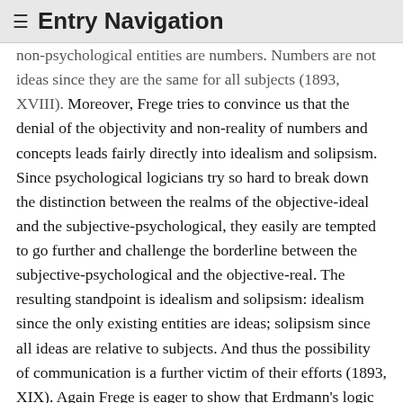≡ Entry Navigation
non-psychological entities are numbers. Numbers are not ideas since they are the same for all subjects (1893, XVIII). Moreover, Frege tries to convince us that the denial of the objectivity and non-reality of numbers and concepts leads fairly directly into idealism and solipsism. Since psychological logicians try so hard to break down the distinction between the realms of the objective-ideal and the subjective-psychological, they easily are tempted to go further and challenge the borderline between the subjective-psychological and the objective-real. The resulting standpoint is idealism and solipsism: idealism since the only existing entities are ideas; solipsism since all ideas are relative to subjects. And thus the possibility of communication is a further victim of their efforts (1893, XIX). Again Frege is eager to show that Erdmann's logic is guilty of the charges. He therefore points out that Erdmann calls both hallucinated objects and numbers 'objects of an ideal nature'; that Erdmann fails to distinguish between acts and contents of judgments; and that Erdmann lacks the conceptual